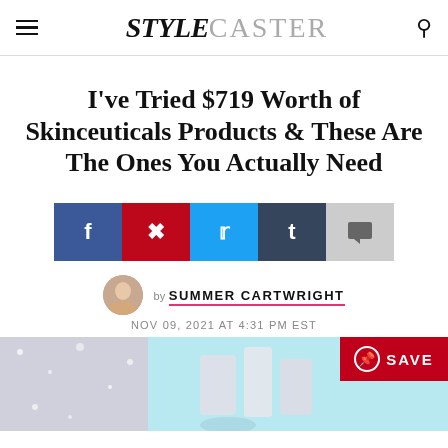STYLECASTER
I've Tried $719 Worth of Skinceuticals Products & These Are The Ones You Actually Need
[Figure (infographic): Social sharing buttons: Facebook, Pinterest, Twitter, Tumblr, Comment]
by SUMMER CARTWRIGHT
NOV 09, 2021 AT 4:31 PM EST
[Figure (photo): Product image with sparkles on light blue background, with red SAVE Pinterest badge in top right corner]